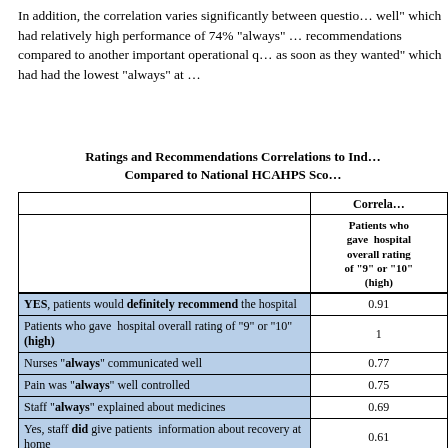In addition, the correlation varies significantly between questions. A question rated relatively well which had relatively high performance of 74% "always" and high correlation to ratings and recommendations compared to another important operational question, patients received help as soon as they wanted which had had the lowest "always" at ...
Ratings and Recommendations Correlations to Ind...
Compared to National HCAHPS Sco...
|  | Correlations - Patients who gave hospital overall rating of "9" or "10" (high) |
| --- | --- |
| YES, patients would definitely recommend the hospital | 0.91 |
| Patients who gave hospital overall rating of "9" or "10" (high) | 1 |
| Nurses "always" communicated well | 0.77 |
| Pain was "always" well controlled | 0.75 |
| Staff "always" explained about medicines | 0.69 |
| Yes, staff did give patients information about recovery at home | 0.61 |
| Doctors "always" communicated well | 0.62 |
| Rooms "always" clean... | 0.62 |